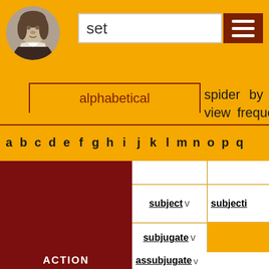[Figure (illustration): Circular portrait of Shakespeare in grayscale]
set
[Figure (other): Hamburger menu icon (three white horizontal lines on dark red background)]
alphabetical  spider by view  frequency by
a b c d e f g h i j k l m n o p q
subject v
subjecti
subjugate v
ACTION
assubjugate v